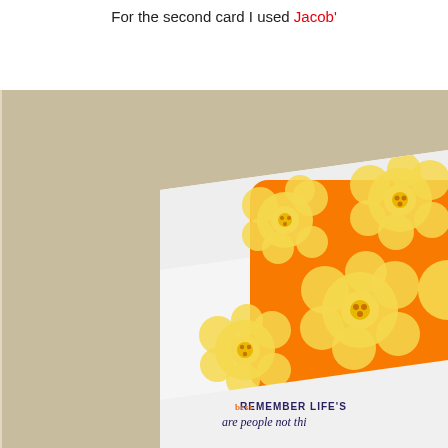For the second card I used Jacob's
[Figure (photo): A handmade greeting card with an orange background decorated with yellow daisy/flower shapes, placed at an angle on a tan/beige surface. At the bottom of the card is stamped text reading 'REMEMBER LIFE'S [blessings] are people not thi[ngs]']